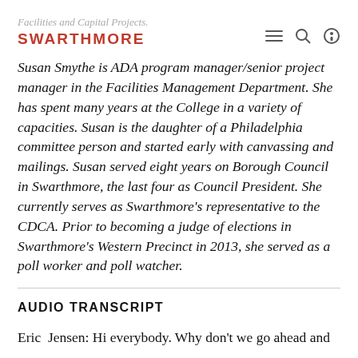Facilities and Capital Projects. SWARTHMORE
Susan Smythe is ADA program manager/senior project manager in the Facilities Management Department. She has spent many years at the College in a variety of capacities. Susan is the daughter of a Philadelphia committee person and started early with canvassing and mailings. Susan served eight years on Borough Council in Swarthmore, the last four as Council President. She currently serves as Swarthmore's representative to the CDCA. Prior to becoming a judge of elections in Swarthmore's Western Precinct in 2013, she served as a poll worker and poll watcher.
AUDIO TRANSCRIPT
Eric  Jensen: Hi everybody. Why don't we go ahead and